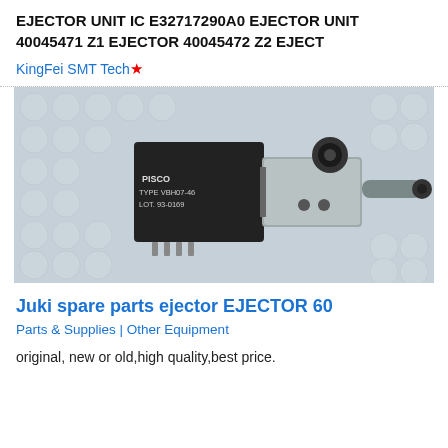EJECTOR UNIT IC E32717290A0 EJECTOR UNIT 40045471 Z1 EJECTOR 40045472 Z2 EJECT
KingFei SMT Tech★
[Figure (photo): Photograph of a PISCO ejector unit (TYPE VBH07-46, LOT 93-0169), a small pneumatic component with a black solenoid block and metal fittings, placed on bubble wrap.]
Juki spare parts ejector EJECTOR 60
Parts & Supplies | Other Equipment
original, new or old,high quality,best price.